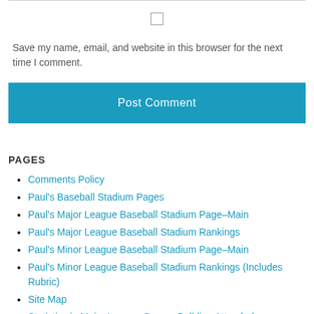Save my name, email, and website in this browser for the next time I comment.
Post Comment
PAGES
Comments Policy
Paul's Baseball Stadium Pages
Paul's Major League Baseball Stadium Page–Main
Paul's Major League Baseball Stadium Rankings
Paul's Minor League Baseball Stadium Page–Main
Paul's Minor League Baseball Stadium Rankings (Includes Rubric)
Site Map
Statistics in Major League Games Ballding Attended